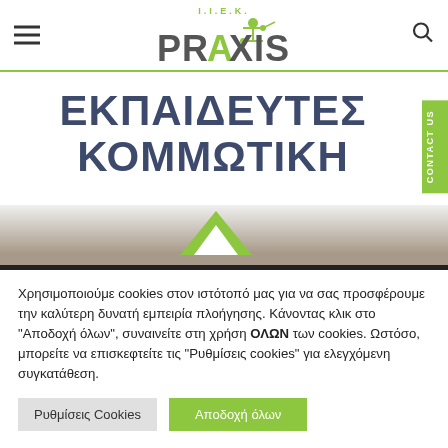[Figure (logo): IEK PRAXIS logo with green figure and circuit design above text, hamburger menu icon on left, search icon on right]
ΕΚΠΑΙΔΕΥΤΕΣ ΚΟΜΜΩΤΙΚΗ
[Figure (illustration): Green upward chevron/arrow symbol, partially visible background image with dark bar below]
Χρησιμοποιούμε cookies στον ιστότοπό μας για να σας προσφέρουμε την καλύτερη δυνατή εμπειρία πλοήγησης. Κάνοντας κλικ στο "Αποδοχή όλων", συναινείτε στη χρήση ΟΛΩΝ των cookies. Ωστόσο, μπορείτε να επισκεφτείτε τις "Ρυθμίσεις cookies" για ελεγχόμενη συγκατάθεση.
Ρυθμίσεις Cookies
Αποδοχή όλων